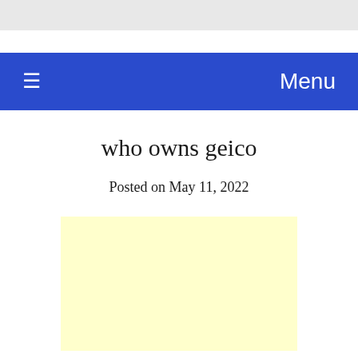who owns geico
Posted on May 11, 2022
[Figure (other): Light yellow advertisement placeholder box]